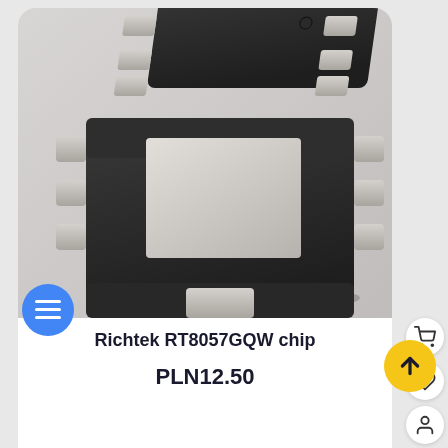[Figure (photo): 3D rendered photo of Richtek RT8057GQW surface-mount IC chip with dark body and silver pads on a light gray background]
Richtek RT8057GQW chip
PLN12.50